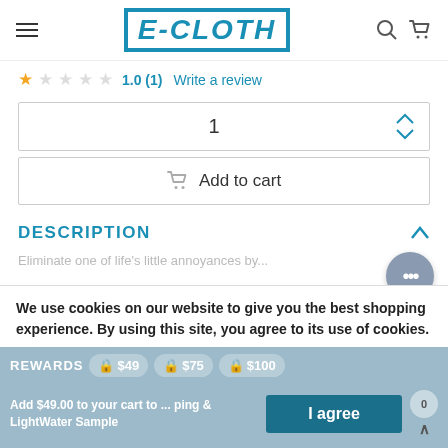E-CLOTH
1.0 (1)  Write a review
1
Add to cart
DESCRIPTION
Eliminate one of life's little annoyances by...
We use cookies on our website to give you the best shopping experience. By using this site, you agree to its use of cookies.
REWARDS  $49  $75  $100
Add $49.00 to your cart to ... ping & LightWater Sample
I agree